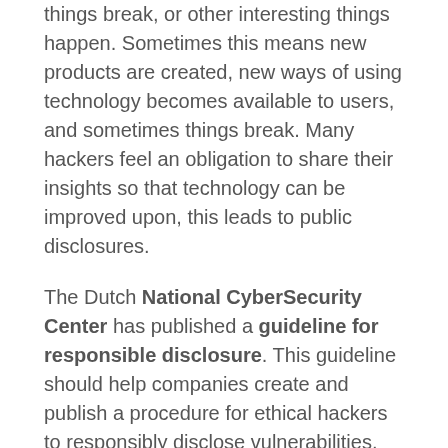things break, or other interesting things happen. Sometimes this means new products are created, new ways of using technology becomes available to users, and sometimes things break. Many hackers feel an obligation to share their insights so that technology can be improved upon, this leads to public disclosures.
The Dutch National CyberSecurity Center has published a guideline for responsible disclosure. This guideline should help companies create and publish a procedure for ethical hackers to responsibly disclose vulnerabilities. The responsible disclosure guideline in short is that the company publishes how ethical hackers can contact the company, what the company expects from the reporter